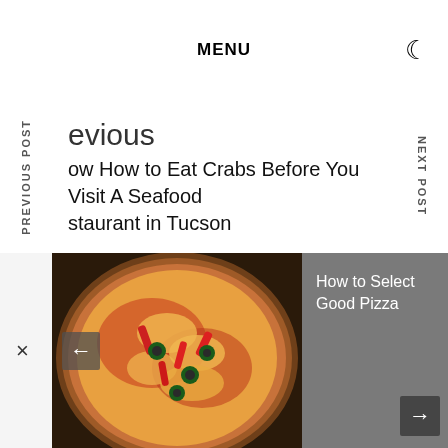MENU
PREVIOUS POST
evious
ow How to Eat Crabs Before You Visit A Seafood
staurant in Tucson
xt
...tritional drink in Singapore
NEXT POST
[Figure (photo): Close-up photo of a pizza with melted cheese, red peppers, and green olives toppings]
How to Select Good Pizza